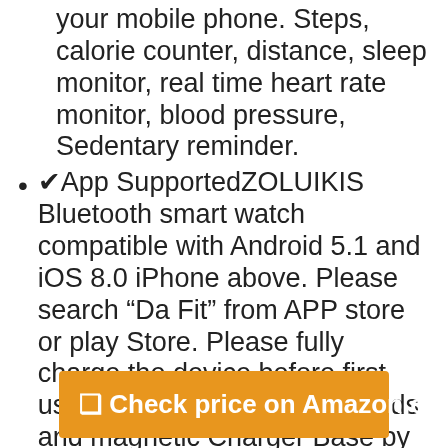your mobile phone. Steps, calorie counter, distance, sleep monitor, real time heart rate monitor, blood pressure, Sedentary reminder.
✔︎App Supported︎ZOLUIKIS Bluetooth smart watch compatible with Android 5.1 and iOS 8.0 iPhone above. Please search “Da Fit” from APP store or play Store. Please fully charge the device before first use. You can buy colorful bands and magnetic Charger Base by the ASIN: B07VL89QMX
❒ Check price on Amazon.com